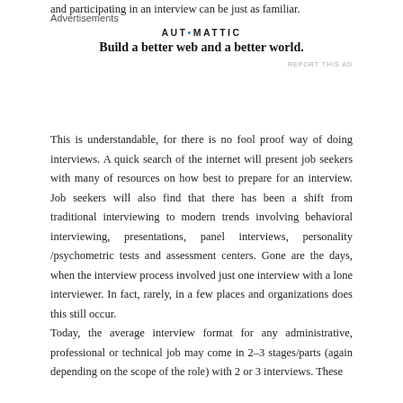and participating in an interview can be just as familiar.
[Figure (other): Advertisement block: Automattic logo and tagline 'Build a better web and a better world.']
This is understandable, for there is no fool proof way of doing interviews. A quick search of the internet will present job seekers with many of resources on how best to prepare for an interview. Job seekers will also find that there has been a shift from traditional interviewing to modern trends involving behavioral interviewing, presentations, panel interviews, personality /psychometric tests and assessment centers. Gone are the days, when the interview process involved just one interview with a lone interviewer. In fact, rarely, in a few places and organizations does this still occur.
Today, the average interview format for any administrative, professional or technical job may come in 2–3 stages/parts (again depending on the scope of the role) with 2 or 3 interviews. These